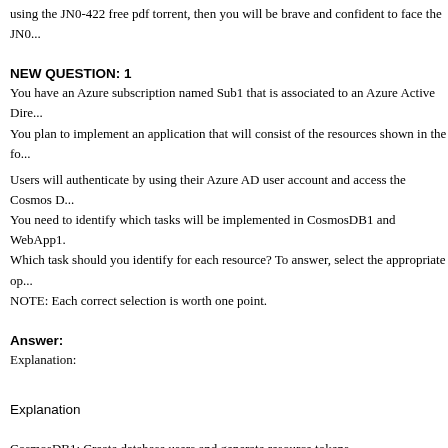using the JN0-422 free pdf torrent, then you will be brave and confident to face the JN0...
NEW QUESTION: 1
You have an Azure subscription named Sub1 that is associated to an Azure Active Dire...
You plan to implement an application that will consist of the resources shown in the fo...
Users will authenticate by using their Azure AD user account and access the Cosmos D...
You need to identify which tasks will be implemented in CosmosDB1 and WebApp1.
Which task should you identify for each resource? To answer, select the appropriate op...
NOTE: Each correct selection is worth one point.
Answer:
Explanation:
Explanation
CosmosDB1: Create database users and generate resource tokens.
Azure Cosmos DB resource tokens provide a safe mechanism for allowing clients to re...
Cosmos DB account according to the granted permissions.
WebApp1: Authenticate Azure AD users and relay resource tokens
A typical approach to requesting, generating, and delivering resource tokens to a mobi...
following diagram shows a high-level overview of how the sample application uses a r...
document database data: